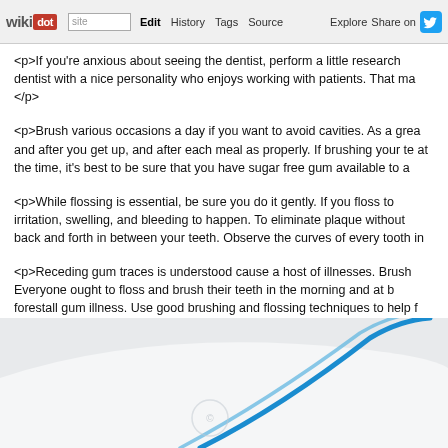wikidot | site | Edit | History | Tags | Source | Explore | Share on [Twitter]
<p>If you're anxious about seeing the dentist, perform a little research dentist with a nice personality who enjoys working with patients. That ma </p>
<p>Brush various occasions a day if you want to avoid cavities. As a grea and after you get up, and after each meal as properly. If brushing your te at the time, it's best to be sure that you have sugar free gum available to a
<p>While flossing is essential, be sure you do it gently. If you floss to irritation, swelling, and bleeding to happen. To eliminate plaque without back and forth in between your teeth. Observe the curves of every tooth in
<p>Receding gum traces is understood cause a host of illnesses. Brush Everyone ought to floss and brush their teeth in the morning and at b forestall gum illness. Use good brushing and flossing techniques to help f
[Figure (illustration): Decorative curved blue arc graphic at the bottom of the page, resembling a stylized swoosh or wave shape on a light grey background]